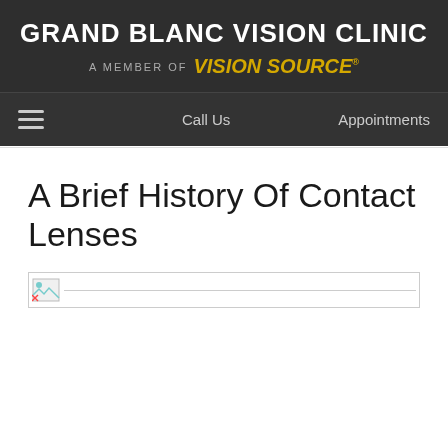GRAND BLANC VISION CLINIC
A MEMBER OF Vision Source®
☰  Call Us  Appointments
A Brief History Of Contact Lenses
[Figure (photo): Broken image placeholder with small broken image icon on the left and a horizontal line extending to the right]